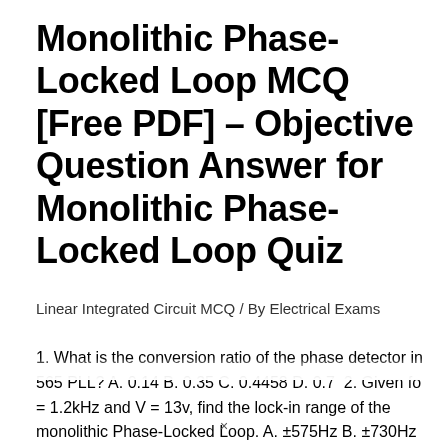Monolithic Phase-Locked Loop MCQ [Free PDF] – Objective Question Answer for Monolithic Phase-Locked Loop Quiz
Linear Integrated Circuit MCQ / By Electrical Exams
1. What is the conversion ratio of the phase detector in 565 PLL? A. 0.14 B. 0.35 C. 0.4458 D. 0.7  2. Given fo = 1.2kHz and V = 13v, find the lock-in range of the monolithic Phase-Locked Loop. A. ±575Hz B. ±730Hz